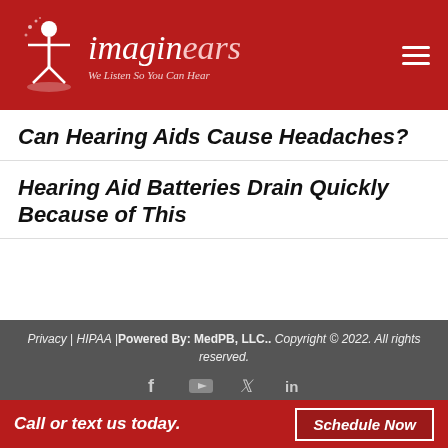[Figure (logo): Imaginears logo with red background, stylized figure icon, text 'imaginears' in italic serif font, tagline 'We Listen So You Can Hear']
Can Hearing Aids Cause Headaches?
Hearing Aid Batteries Drain Quickly Because of This
Privacy | HIPAA | Powered By: MedPB, LLC.. Copyright © 2022. All rights reserved.
Call or text us today.
Schedule Now